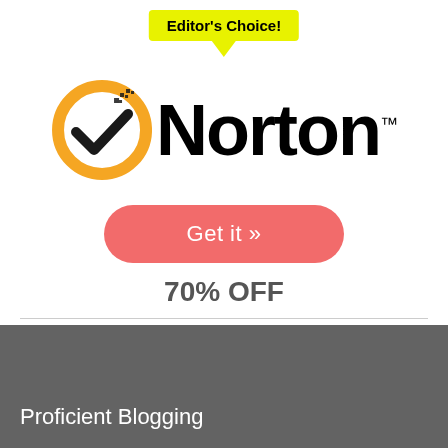[Figure (logo): Editor's Choice badge (yellow speech bubble) above Norton antivirus logo with orange circle checkmark]
Get it »
70% OFF
Proficient Blogging